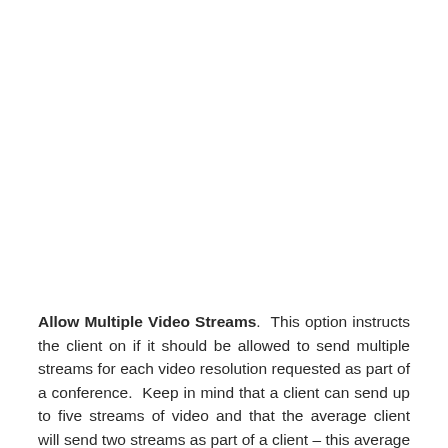Allow Multiple Video Streams. This option instructs the client on if it should be allowed to send multiple streams for each video resolution requested as part of a conference. Keep in mind that a client can send up to five streams of video and that the average client will send two streams as part of a client – this average is what was